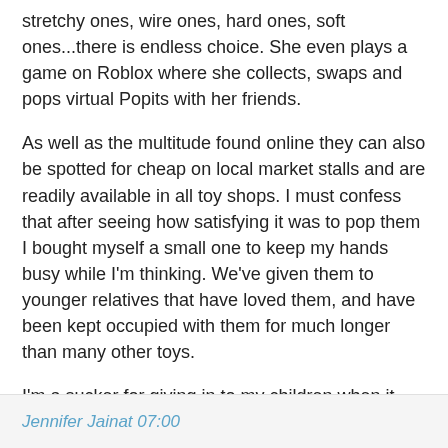stretchy ones, wire ones, hard ones, soft ones...there is endless choice. She even plays a game on Roblox where she collects, swaps and pops virtual Popits with her friends.
As well as the multitude found online they can also be spotted for cheap on local market stalls and are readily available in all toy shops. I must confess that after seeing how satisfying it was to pop them I bought myself a small one to keep my hands busy while I'm thinking. We've given them to younger relatives that have loved them, and have been kept occupied with them for much longer than many other toys.
I'm a sucker for giving in to my children when it comes to keeping up with the latest crazes that hit the playground. At least these days they are able to spend some of their own money, and I like to think that it teaches them a little bit about budgeting and shopping around to get the best deals. Normally these crazes are short lived, but I can't see this latest obsession coming to an end any time soon!
Jennifer Jain at 07:00